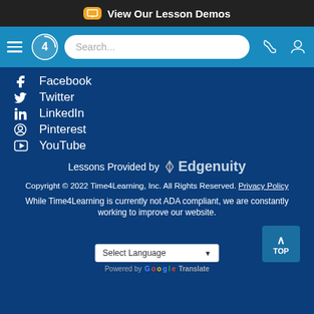View Our Lesson Demos
[Figure (screenshot): Navigation bar with hamburger menu, Time4Learning logo, search box, phone and user icons]
Facebook
Twitter
LinkedIn
Pinterest
YouTube
Lessons Provided by Edgenuity
Copyright © 2022 Time4Learning, Inc. All Rights Reserved. Privacy Policy
While Time4Learning is currently not ADA compliant, we are constantly working to improve our website.
Select Language
Powered by Google Translate